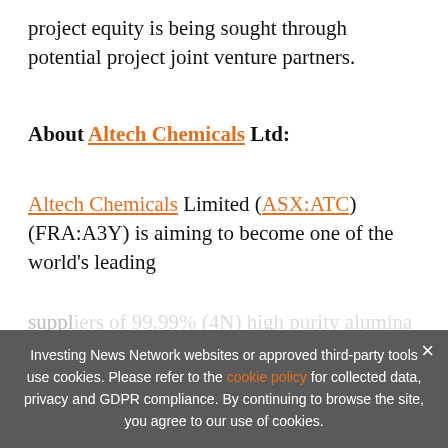project equity is being sought through potential project joint venture partners.
About Altech Chemicals Ltd:
Altech Chemicals Limited (ASX:ATC) (FRA:A3Y) is aiming to become one of the world's leading suppliers of 99.99% (4N) high purity alumina (Al2O3)... construction of a 4,500tpa high purity alumina (HPA) processing
[Figure (infographic): Ad banner: EXCLUSIVE 2022 RESOURCE OUTLOOK REPORT. TRENDS. FORECASTS. TOP STOCKS. with orange arrow button and orange side bar, close button.]
Investing News Network websites or approved third-party tools use cookies. Please refer to the cookie policy for collected data, privacy and GDPR compliance. By continuing to browse the site, you agree to our use of cookies.